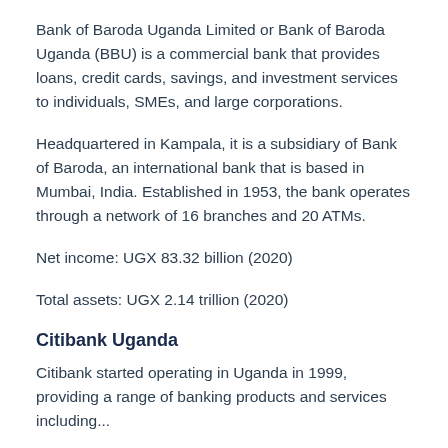Bank of Baroda Uganda Limited or Bank of Baroda Uganda (BBU) is a commercial bank that provides loans, credit cards, savings, and investment services to individuals, SMEs, and large corporations.
Headquartered in Kampala, it is a subsidiary of Bank of Baroda, an international bank that is based in Mumbai, India. Established in 1953, the bank operates through a network of 16 branches and 20 ATMs.
Net income: UGX 83.32 billion (2020)
Total assets: UGX 2.14 trillion (2020)
Citibank Uganda
Citibank started operating in Uganda in 1999, providing a range of banking products and services including...